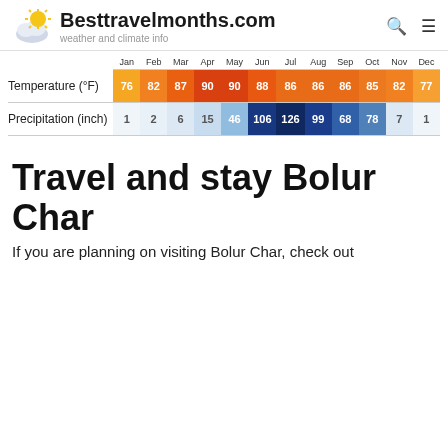Besttravelmonths.com — weather and climate info
|  | Jan | Feb | Mar | Apr | May | Jun | Jul | Aug | Sep | Oct | Nov | Dec |
| --- | --- | --- | --- | --- | --- | --- | --- | --- | --- | --- | --- | --- |
| Temperature (°F) | 76 | 82 | 87 | 90 | 90 | 88 | 86 | 86 | 86 | 85 | 82 | 77 |
| Precipitation (inch) | 1 | 2 | 6 | 15 | 46 | 106 | 126 | 99 | 68 | 78 | 7 | 1 |
Travel and stay Bolur Char
If you are planning on visiting Bolur Char, check out